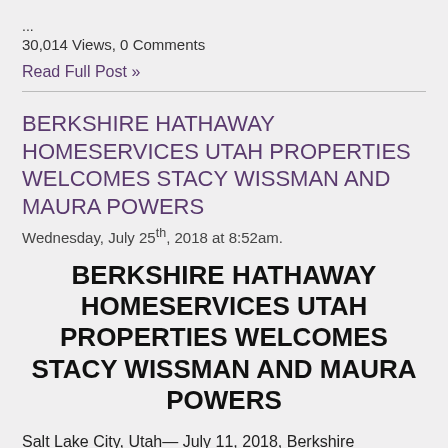...
30,014 Views, 0 Comments
Read Full Post »
BERKSHIRE HATHAWAY HOMESERVICES UTAH PROPERTIES WELCOMES STACY WISSMAN AND MAURA POWERS
Wednesday, July 25th, 2018 at 8:52am.
BERKSHIRE HATHAWAY HOMESERVICES UTAH PROPERTIES WELCOMES STACY WISSMAN AND MAURA POWERS
Salt Lake City, Utah— July 11, 2018, Berkshire Hathaway HomeServices Utah Properties welcomes Realtors® Stacy Wissman and Maura Powers to the Salt Lake City office.